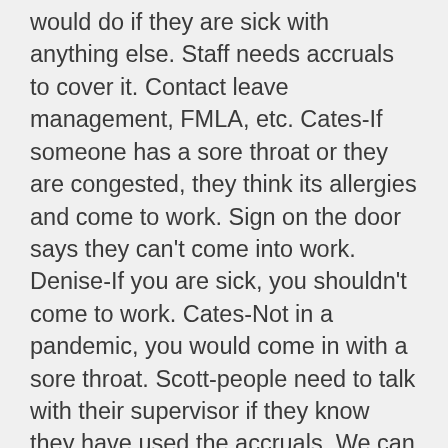would do if they are sick with anything else. Staff needs accruals to cover it. Contact leave management, FMLA, etc. Cates-If someone has a sore throat or they are congested, they think its allergies and come to work. Sign on the door says they can't come into work. Denise-If you are sick, you shouldn't come to work. Cates-Not in a pandemic, you would come in with a sore throat. Scott-people need to talk with their supervisor if they know they have used the accruals. We can deal with a case by case basis. Cates-what if they have to quarantine for two weeks? Denise-contact leave management and apply for fmla. I'm not trying to be insensitive; it is a medical situation that we need to manage. I am not going to blanket say to come to work if you have covid. If you are sick, consult physician and make whatever decision you need to make. Becky-This is a narrow group. Marvin-